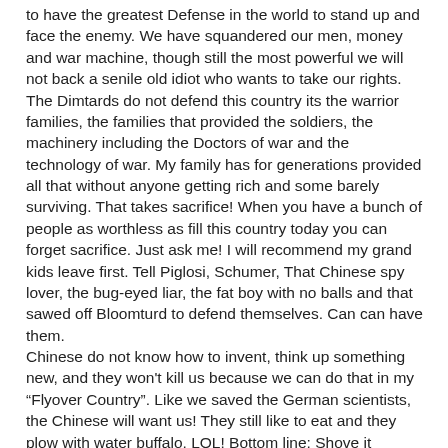to have the greatest Defense in the world to stand up and face the enemy. We have squandered our men, money and war machine, though still the most powerful we will not back a senile old idiot who wants to take our rights. The Dimtards do not defend this country its the warrior families, the families that provided the soldiers, the machinery including the Doctors of war and the technology of war. My family has for generations provided all that without anyone getting rich and some barely surviving. That takes sacrifice! When you have a bunch of people as worthless as fill this country today you can forget sacrifice. Just ask me! I will recommend my grand kids leave first. Tell Piglosi, Schumer, That Chinese spy lover, the bug-eyed liar, the fat boy with no balls and that sawed off Bloomturd to defend themselves. Can can have them. Chinese do not know how to invent, think up something new, and they won't kill us because we can do that in my “Flyover Country”. Like we saved the German scientists, the Chinese will want us! They still like to eat and they plow with water buffalo, LOL! Bottom line; Shove it Libtard, Senile, Biden Administration! Oh yes one more thing, does anyone thing AI will replace good old American ingenuity. LOL! yeah!!!! Sure!!!